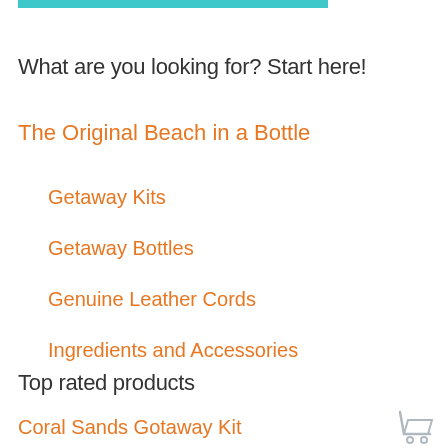What are you looking for? Start here!
The Original Beach in a Bottle
Getaway Kits
Getaway Bottles
Genuine Leather Cords
Ingredients and Accessories
Top rated products
Coral Sands Gotaway Kit